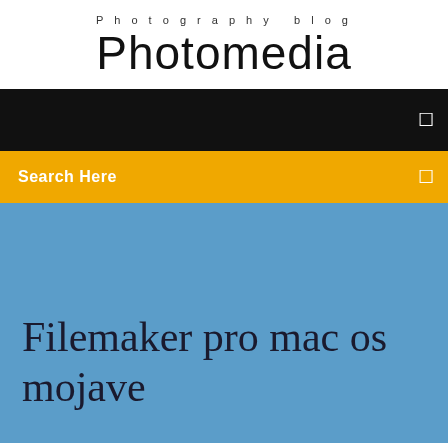Photography blog
Photomedia
Search Here
Filemaker pro mac os mojave